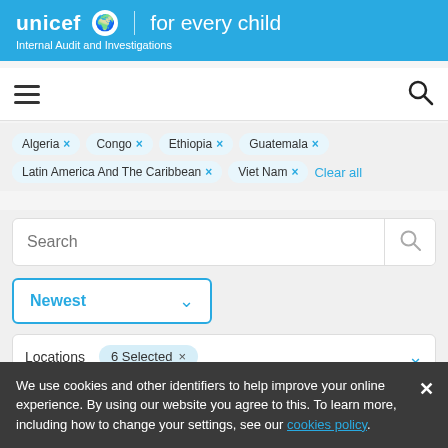[Figure (logo): UNICEF 'for every child' logo and Internal Audit and Investigations header on blue background]
[Figure (screenshot): Navigation bar with hamburger menu icon and search icon]
Algeria × Congo × Ethiopia × Guatemala × Latin America And The Caribbean × Viet Nam × Clear all
Search
Newest
Locations  6 Selected ×
We use cookies and other identifiers to help improve your online experience. By using our website you agree to this. To learn more, including how to change your settings, see our cookies policy.